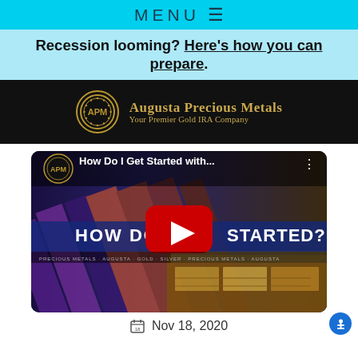MENU ≡
Recession looming? Here's how you can prepare.
[Figure (logo): Augusta Precious Metals logo — circular APM badge with gold stars on dark background, with text 'Augusta Precious Metals' and tagline 'Your Premier Gold IRA Company' on black background]
[Figure (screenshot): YouTube video thumbnail for 'How Do I Get Started with...' by APM (Augusta Precious Metals), showing gold bars and a red YouTube play button, with text 'HOW DO I GET STARTED?' overlaid]
Nov 18, 2020